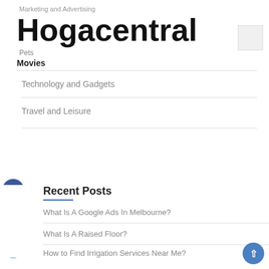Marketing and Advertising
Hogacentral
Pets
Movies
Technology and Gadgets
Travel and Leisure
Recent Posts
What Is A Google Ads In Melbourne?
What Is A Raised Floor?
How to Find Irrigation Services Near Me?